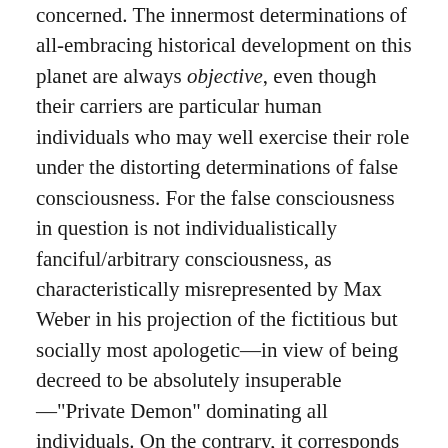concerned. The innermost determinations of all-embracing historical development on this planet are always objective, even though their carriers are particular human individuals who may well exercise their role under the distorting determinations of false consciousness. For the false consciousness in question is not individualistically fanciful/arbitrary consciousness, as characteristically misrepresented by Max Weber in his projection of the fictitious but socially most apologetic—in view of being decreed to be absolutely insuperable—"Private Demon" dominating all individuals. On the contrary, it corresponds to determinate objective interests under the conditions of materially antagonistic historical development. This is a type of historical development characteristic of all social formations in which the overall command structure of decision making is—for a great variety of identifiable reasons—alienated from the social body as a whole, and is embodied in a separate, superimposed